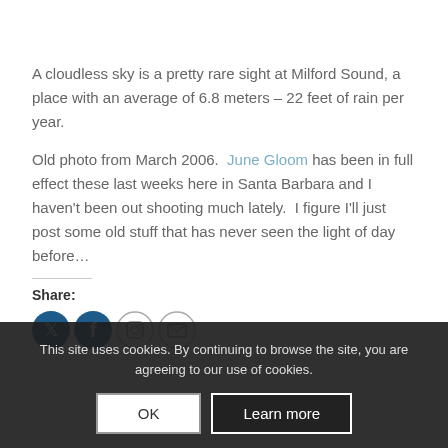A cloudless sky is a pretty rare sight at Milford Sound, a place with an average of 6.8 meters – 22 feet of rain per year.
Old photo from March 2006.  June Gloom has been in full effect these last weeks here in Santa Barbara and I haven't been out shooting much lately.  I figure I'll just post some old stuff that has never seen the light of day before…
Share:
This site uses cookies. By continuing to browse the site, you are agreeing to our use of cookies.